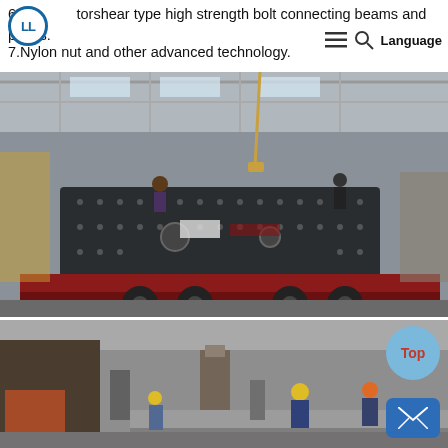6. Use torshear type high strength bolt connecting beams and plates.
7. Nylon nut and other advanced technology.
[Figure (photo): Industrial factory interior with a large vibrating screen or heavy machinery loaded onto a flatbed truck/trailer. Workers are visible on top of the equipment. A crane hook is visible above. The machine is dark gray and heavily bolted. The setting is a large steel-frame warehouse.]
[Figure (photo): Factory floor scene with workers in hard hats working around industrial equipment including what appears to be a large cylindrical vessel or screen machine. The setting is a large industrial manufacturing facility.]